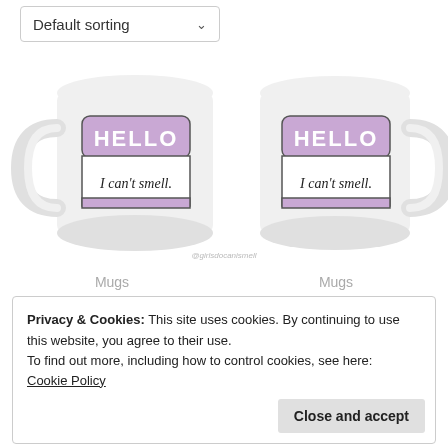Default sorting
[Figure (illustration): Two white ceramic mugs side by side, each featuring a name-tag style design with purple top section reading HELLO and white bottom section reading 'I can't smell'. Left mug shows front view with handle on left. Right mug shows slightly angled view with handle on right. Watermark text '@girlsdocanismell' below the mugs.]
Mugs
Mugs
Privacy & Cookies: This site uses cookies. By continuing to use this website, you agree to their use.
To find out more, including how to control cookies, see here:
Cookie Policy
Close and accept